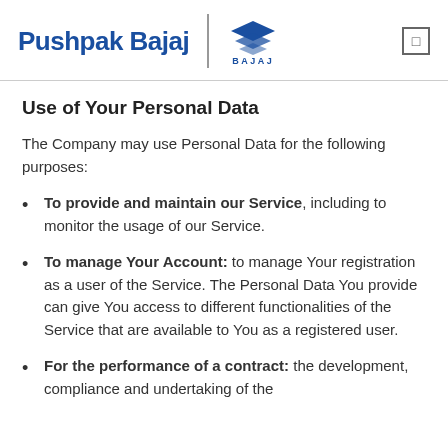Pushpak Bajaj | BAJAJ
Use of Your Personal Data
The Company may use Personal Data for the following purposes:
To provide and maintain our Service, including to monitor the usage of our Service.
To manage Your Account: to manage Your registration as a user of the Service. The Personal Data You provide can give You access to different functionalities of the Service that are available to You as a registered user.
For the performance of a contract: the development, compliance and undertaking of the...